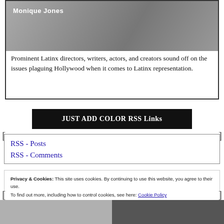[Figure (photo): Book cover or article image with text 'Monique Jones' on a pink banner overlay, and a 'Just Add Color' logo on white box. Black and white photo of a person in background.]
Prominent Latinx directors, writers, actors, and creators sound off on the issues plaguing Hollywood when it comes to Latinx representation.
JUST ADD COLOR RSS Links
RSS - Posts
RSS - Comments
Privacy & Cookies: This site uses cookies. By continuing to use this website, you agree to their use.
To find out more, including how to control cookies, see here: Cookie Policy
Close and accept
[Figure (photo): Two partial images at the bottom of the page, one showing a person outdoors and one darker image.]